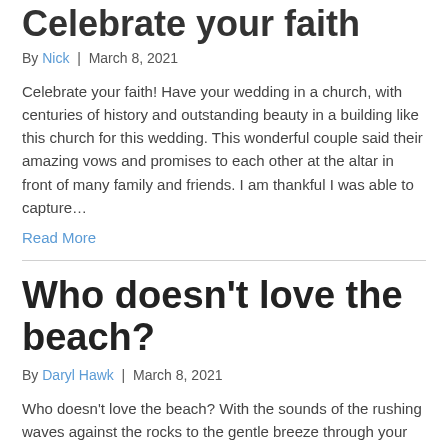Celebrate your faith
By Nick | March 8, 2021
Celebrate your faith! Have your wedding in a church, with centuries of history and outstanding beauty in a building like this church for this wedding. This wonderful couple said their amazing vows and promises to each other at the altar in front of many family and friends. I am thankful I was able to capture…
Read More
Who doesn't love the beach?
By Daryl Hawk | March 8, 2021
Who doesn't love the beach? With the sounds of the rushing waves against the rocks to the gentle breeze through your hair… the sun shining and the birds chirping, a perfect day for a romantic wedding. The couple is seen at…